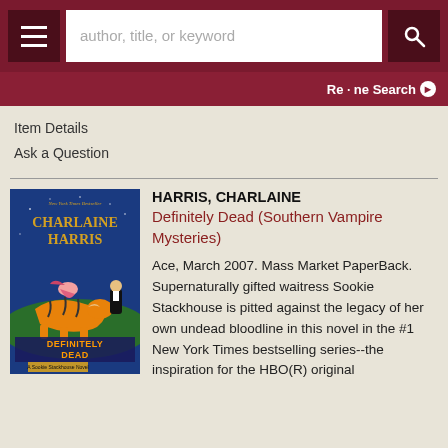author, title, or keyword [search bar] | Re•ne Search
Item Details
Ask a Question
[Figure (illustration): Book cover for 'Definitely Dead' by Charlaine Harris, showing a woman riding a tiger with a man in a tuxedo, blue background, 'New York Times Bestseller' at top]
HARRIS, CHARLAINE
Definitely Dead (Southern Vampire Mysteries)
Ace, March 2007. Mass Market PaperBack. Supernaturally gifted waitress Sookie Stackhouse is pitted against the legacy of her own undead bloodline in this novel in the #1 New York Times bestselling series--the inspiration for the HBO(R) original